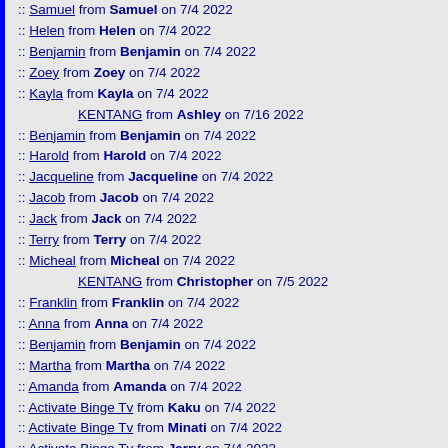:: Samuel from Samuel on 7/4 2022
:: Helen from Helen on 7/4 2022
:: Benjamin from Benjamin on 7/4 2022
:: Zoey from Zoey on 7/4 2022
:: Kayla from Kayla on 7/4 2022
KENTANG from Ashley on 7/16 2022
:: Benjamin from Benjamin on 7/4 2022
:: Harold from Harold on 7/4 2022
:: Jacqueline from Jacqueline on 7/4 2022
:: Jacob from Jacob on 7/4 2022
:: Jack from Jack on 7/4 2022
:: Terry from Terry on 7/4 2022
:: Micheal from Micheal on 7/4 2022
KENTANG from Christopher on 7/5 2022
:: Franklin from Franklin on 7/4 2022
:: Anna from Anna on 7/4 2022
:: Benjamin from Benjamin on 7/4 2022
:: Martha from Martha on 7/4 2022
:: Amanda from Amanda on 7/4 2022
:: Activate Binge Tv from Kaku on 7/4 2022
:: Activate Binge Tv from Minati on 7/4 2022
:: Activate Binge Tv from Jarry on 7/4 2022
:: Activate Binge Tv from Danny on 7/4 2022
KENTANG from Heather on 7/16 2022
:: Activate Binge Tv from DZY on 7/4 2022
:: Activate Binge Tv from Carry on 7/4 2022
:: Activate Binge Tv from Jarry on 7/4 2022
KENTANG from Thomas on 7/16 2022
:: Binge Tv Activate from Kaku on 7/4 2022
:: Binge Tv Activate from Janny on 7/4 2022
:: Binge Tv Activate from Kaku on 7/4 2022